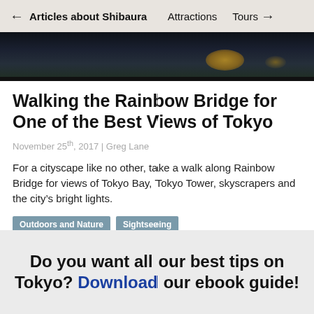← Articles about Shibaura   Attractions   Tours →
[Figure (photo): Dark night cityscape photo strip, partially cropped at top, with yellow/orange light reflections visible on the right side]
Walking the Rainbow Bridge for One of the Best Views of Tokyo
November 25th, 2017 | Greg Lane
For a cityscape like no other, take a walk along Rainbow Bridge for views of Tokyo Bay, Tokyo Tower, skyscrapers and the city's bright lights.
Outdoors and Nature
Sightseeing
Do you want all our best tips on Tokyo? Download our ebook guide!